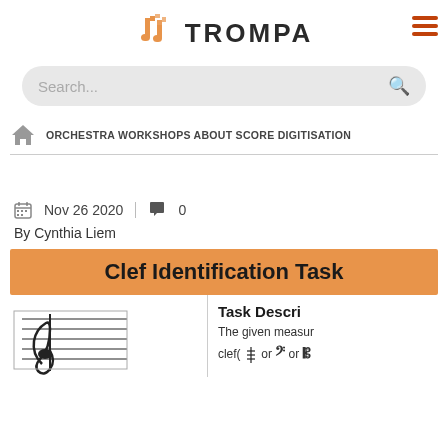TROMPA
[Figure (screenshot): Search bar input field with placeholder text 'Search...' and a search icon on the right, on a light grey rounded background]
ORCHESTRA WORKSHOPS ABOUT SCORE DIGITISATION
Nov 26 2020  |  0
By Cynthia Liem
Clef Identification Task
Task Descri
The given measur clef( or  or